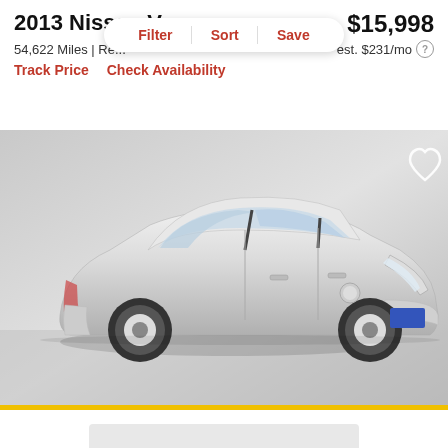2013 Nissan V...
$15,998
54,622 Miles | Re...
est. $231/mo
Filter   Sort   Save
Track Price   Check Availability
[Figure (photo): Silver 2013 Nissan Versa sedan, front three-quarter view, on a gray studio floor. Heart/favorite icon in upper right corner of image.]
[Figure (other): Partially visible placeholder image at bottom of page]